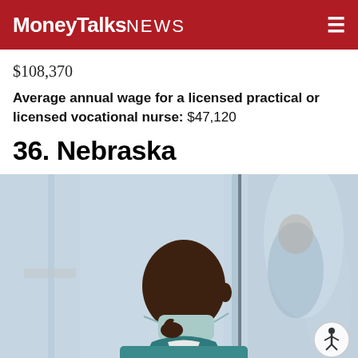MoneyTalksNews
$108,370
Average annual wage for a licensed practical or licensed vocational nurse: $47,120
36. Nebraska
[Figure (photo): A Black male healthcare worker in teal scrubs with a surgical mask pulled down under his chin, looking thoughtfully to the side, with a blurred background of windows or glass panels.]